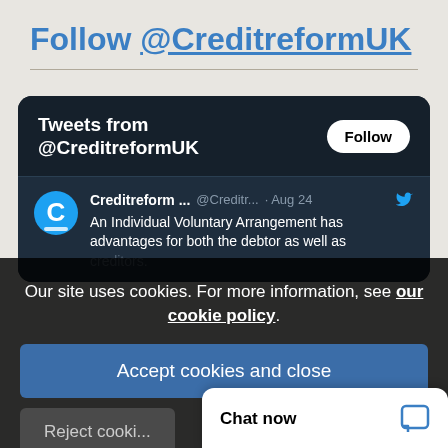Follow @CreditreformUK
[Figure (screenshot): Twitter/X widget showing tweets from @CreditreformUK with a Follow button, tweet from Creditreform about Individual Voluntary Arrangement with avatar showing C logo]
Our site uses cookies. For more information, see our cookie policy.
Accept cookies and close
Reject cooki...
Chat now